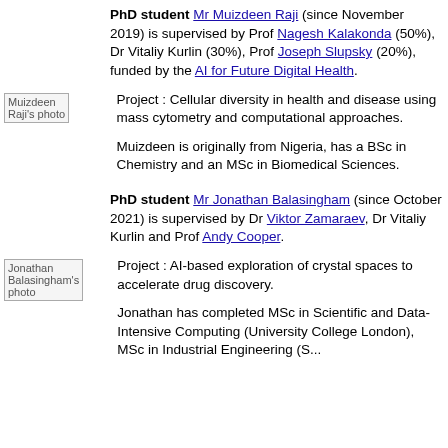PhD student Mr Muizdeen Raji (since November 2019) is supervised by Prof Nagesh Kalakonda (50%), Dr Vitaliy Kurlin (30%), Prof Joseph Slupsky (20%), funded by the AI for Future Digital Health.
[Figure (photo): Muizdeen Raji's photo placeholder]
Project : Cellular diversity in health and disease using mass cytometry and computational approaches.
Muizdeen is originally from Nigeria, has a BSc in Chemistry and an MSc in Biomedical Sciences.
PhD student Mr Jonathan Balasingham (since October 2021) is supervised by Dr Viktor Zamaraev, Dr Vitaliy Kurlin and Prof Andy Cooper.
[Figure (photo): Jonathan Balasingham's photo placeholder]
Project : AI-based exploration of crystal spaces to accelerate drug discovery.
Jonathan has completed MSc in Scientific and Data-Intensive Computing (University College London), MSc in Industrial Engineering (S...